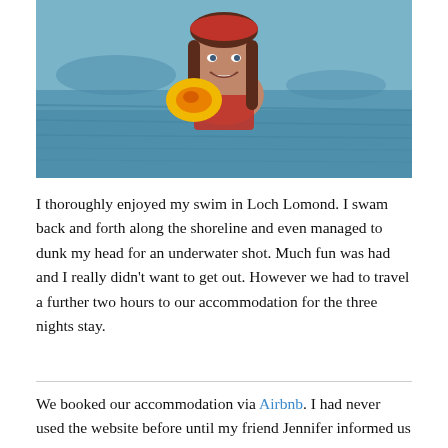[Figure (photo): Woman with braided red/dark hair wearing a red swimsuit, holding or wearing an inflatable yellow/orange swim buoy, photographed in open water (Loch Lomond), smiling at camera. Water is visible in the background.]
I thoroughly enjoyed my swim in Loch Lomond. I swam back and forth along the shoreline and even managed to dunk my head for an underwater shot. Much fun was had and I really didn't want to get out. However we had to travel a further two hours to our accommodation for the three nights stay.
We booked our accommodation via Airbnb. I had never used the website before until my friend Jennifer informed us that her European trip was booked through the website. After doing a search of the Fort William area, one accommodation seemed promising. A self catering